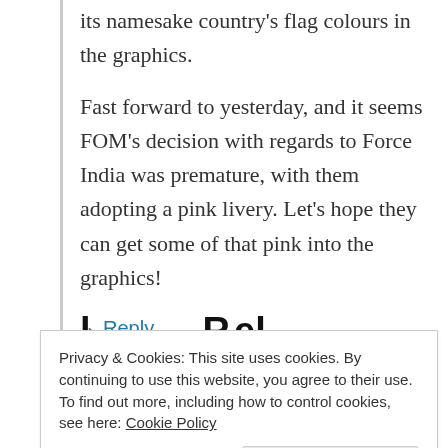its namesake country's flag colours in the graphics.
Fast forward to yesterday, and it seems FOM's decision with regards to Force India was premature, with them adopting a pink livery. Let's hope they can get some of that pink into the graphics!
↳ Reply
Privacy & Cookies: This site uses cookies. By continuing to use this website, you agree to their use.
To find out more, including how to control cookies, see here: Cookie Policy
Close and accept
Comment *